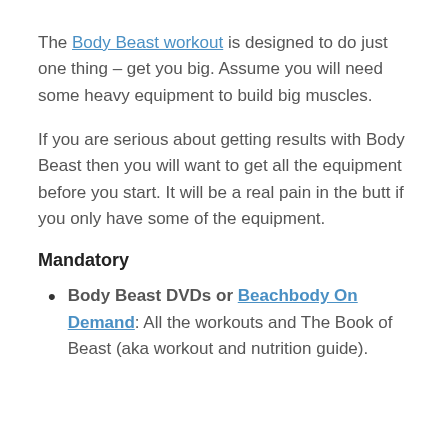The Body Beast workout is designed to do just one thing – get you big. Assume you will need some heavy equipment to build big muscles.
If you are serious about getting results with Body Beast then you will want to get all the equipment before you start. It will be a real pain in the butt if you only have some of the equipment.
Mandatory
Body Beast DVDs or Beachbody On Demand: All the workouts and The Book of Beast (aka workout and nutrition guide).